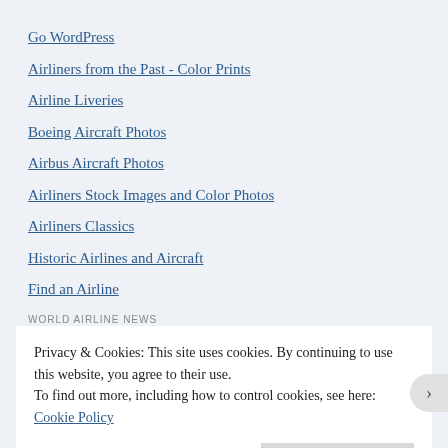Go WordPress
Airliners from the Past - Color Prints
Airline Liveries
Boeing Aircraft Photos
Airbus Aircraft Photos
Airliners Stock Images and Color Photos
Airliners Classics
Historic Airlines and Aircraft
Find an Airline
WORLD AIRLINE NEWS
Privacy & Cookies: This site uses cookies. By continuing to use this website, you agree to their use.
To find out more, including how to control cookies, see here: Cookie Policy
Close and accept